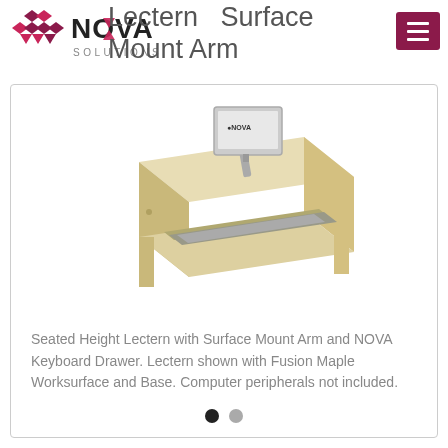[Figure (logo): Nova Solutions logo with geometric diamond/cube icon in dark red/maroon and pink, with NOVA in bold dark letters and SOLUTIONS below]
Lectern   Surface Mount Arm
[Figure (photo): Seated height lectern with surface mount monitor arm showing a monitor displaying Nova Solutions logo, and a keyboard drawer. Lectern shown in Fusion Maple finish (light wood color) with grey keyboard tray.]
Seated Height Lectern with Surface Mount Arm and NOVA Keyboard Drawer. Lectern shown with Fusion Maple Worksurface and Base. Computer peripherals not included.